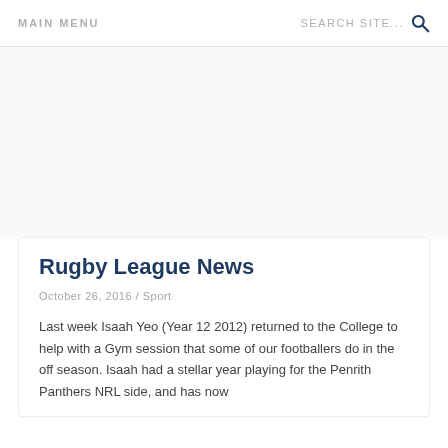MAIN MENU   SEARCH SITE...
Rugby League News
October 26, 2016 / Sport
Last week Isaah Yeo (Year 12 2012) returned to the College to help with a Gym session that some of our footballers do in the off season. Isaah had a stellar year playing for the Penrith Panthers NRL side, and has now